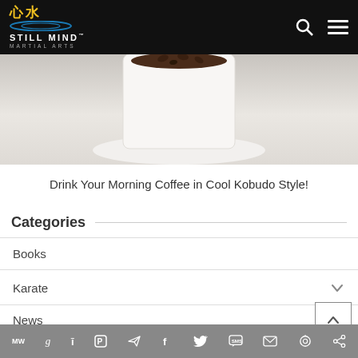Still Mind Martial Arts
[Figure (photo): Partial view of a white coffee mug with coffee beans visible at the top, on a white marble or fabric surface]
Drink Your Morning Coffee in Cool Kobudo Style!
Categories
Books
Karate
News
Qigong
MW | social sharing toolbar with icons: MW, Goodreads, Instapaper, Pocket, Telegram, Facebook, Twitter, SMS, Email, Options, Share